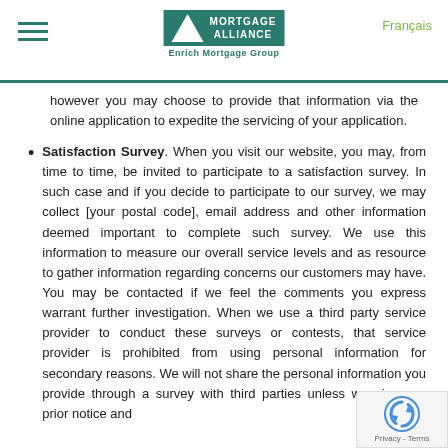[Figure (logo): Mortgage Alliance Enrich Mortgage Group logo with hamburger menu and Français link]
however you may choose to provide that information via the online application to expedite the servicing of your application.
Satisfaction Survey. When you visit our website, you may, from time to time, be invited to participate to a satisfaction survey. In such case and if you decide to participate to our survey, we may collect [your postal code], email address and other information deemed important to complete such survey. We use this information to measure our overall service levels and as resource to gather information regarding concerns our customers may have. You may be contacted if we feel the comments you express warrant further investigation. When we use a third party service provider to conduct these surveys or contests, that service provider is prohibited from using personal information for secondary reasons. We will not share the personal information you provide through a survey with third parties unless we give you prior notice and